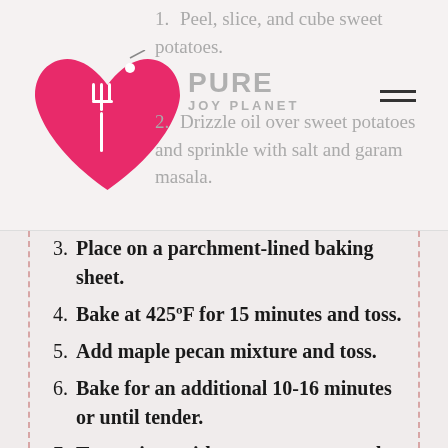Pure Joy Planet (logo header with navigation)
1. Peel, slice, and cube sweet potatoes.
2. Drizzle oil over sweet potatoes and sprinkle with salt and garam masala.
3. Place on a parchment-lined baking sheet.
4. Bake at 425ºF for 15 minutes and toss.
5. Add maple pecan mixture and toss.
6. Bake for an additional 10-16 minutes or until tender.
7. Toss onions with sweet potatoes and serve.
MAPLE PECAN TOPPING
1. Add all topping ingredients in a small mixing bowl. Mix well until combined.